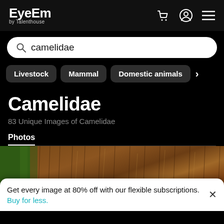EyeEm by Talenthouse
camelidae
Livestock
Mammal
Domestic animals
Camelidae
83 Unique Images of Camelidae
Photos
[Figure (photo): Close-up photo of a camelidae animal with dark brown shaggy fur, with green grass visible on the left side]
Get every image at 80% off with our flexible subscriptions. Buy for less.